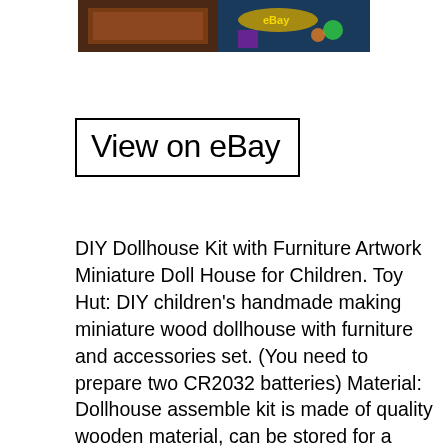[Figure (photo): Partial image of a dollhouse/toy product listing on eBay, showing colorful packaging at the top]
View on eBay
DIY Dollhouse Kit with Furniture Artwork Miniature Doll House for Children. Toy Hut: DIY children's handmade making miniature wood dollhouse with furniture and accessories set. (You need to prepare two CR2032 batteries) Material: Dollhouse assemble kit is made of quality wooden material, can be stored for a long time after assembly. Realistic Shape: Clever design of miniature doll house, with LED lights, can be lit at night. Perfect Gift: A wonderful project gift for all ages, improving creativity and develop interest. Perfect project for spending time. DIY Model: Diy dollhouse kit is not a finished model, it needs to be assembled by yourself, it can be used as collectibles and home decorations after finishing. Finished size: 31.5x35x26.5cm/12.40x13.77x10.43inch Packing